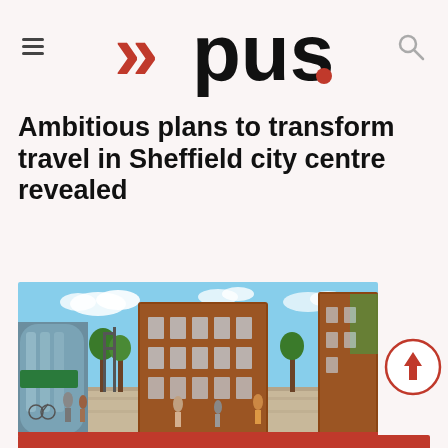>>push.
Ambitious plans to transform travel in Sheffield city centre revealed
[Figure (illustration): Architectural rendering of Sheffield city centre showing pedestrianised street with brick buildings, greenery, and people walking and cycling]
[Figure (other): Red scroll-to-top circular button with upward arrow]